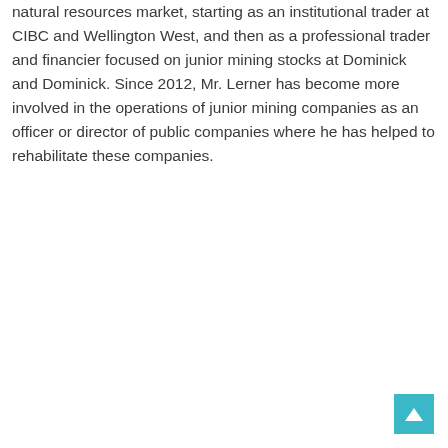natural resources market, starting as an institutional trader at CIBC and Wellington West, and then as a professional trader and financier focused on junior mining stocks at Dominick and Dominick. Since 2012, Mr. Lerner has become more involved in the operations of junior mining companies as an officer or director of public companies where he has helped to rehabilitate these companies.